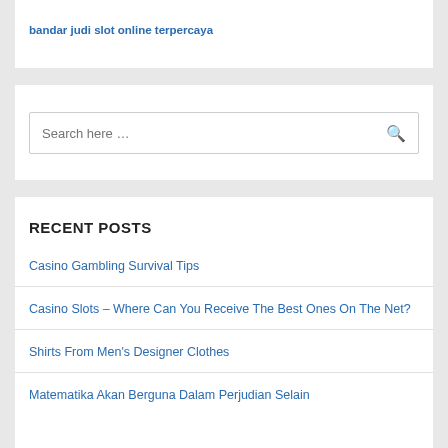bandar judi slot online terpercaya
Search here …
RECENT POSTS
Casino Gambling Survival Tips
Casino Slots – Where Can You Receive The Best Ones On The Net?
Shirts From Men's Designer Clothes
Matematika Akan Berguna Dalam Perjudian Selain